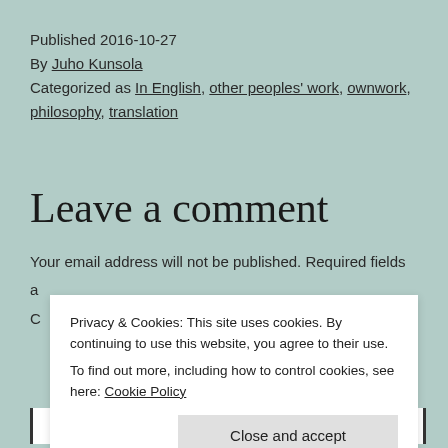Published 2016-10-27
By Juho Kunsola
Categorized as In English, other peoples' work, ownwork, philosophy, translation
Leave a comment
Your email address will not be published. Required fields a
C
Privacy & Cookies: This site uses cookies. By continuing to use this website, you agree to their use.
To find out more, including how to control cookies, see here: Cookie Policy
Close and accept